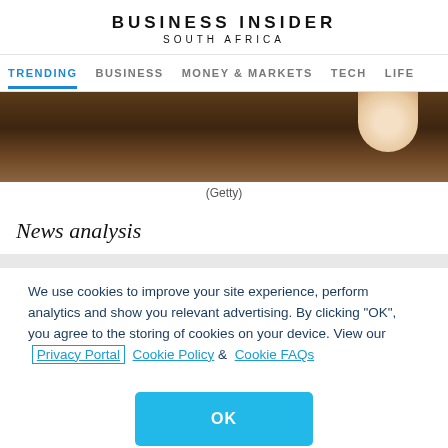BUSINESS INSIDER
SOUTH AFRICA
TRENDING  BUSINESS  MONEY & MARKETS  TECH  LIFE
[Figure (photo): Cropped photo showing a dark wooden surface with a hand/fingers visible at the top right]
(Getty)
News analysis
We use cookies to improve your site experience, perform analytics and show you relevant advertising. By clicking "OK", you agree to the storing of cookies on your device. View our Privacy Portal  Cookie Policy &  Cookie FAQs
OK